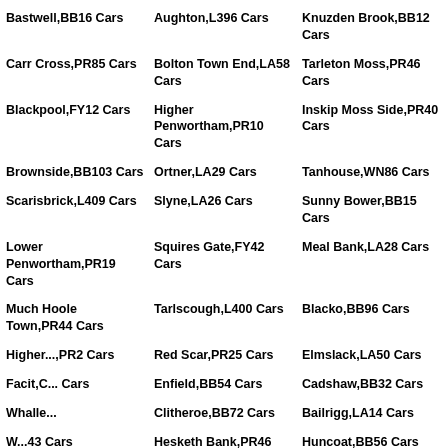Bastwell,BB16 Cars
Aughton,L396 Cars
Knuzden Brook,BB12 Cars
Carr Cross,PR85 Cars
Bolton Town End,LA58 Cars
Tarleton Moss,PR46 Cars
Blackpool,FY12 Cars
Higher Penwortham,PR10 Cars
Inskip Moss Side,PR40 Cars
Brownside,BB103 Cars
Ortner,LA29 Cars
Tanhouse,WN86 Cars
Scarisbrick,L409 Cars
Slyne,LA26 Cars
Sunny Bower,BB15 Cars
Lower Penwortham,PR19 Cars
Squires Gate,FY42 Cars
Meal Bank,LA28 Cars
Much Hoole Town,PR44 Cars
Tarlscough,L400 Cars
Blacko,BB96 Cars
Higher ... Cars
Red Scar,PR25 Cars
Elmslack,LA50 Cars
Facit,C... Cars
Enfield,BB54 Cars
Cadshaw,BB32 Cars
Whalle...
Clitheroe,BB72 Cars
Bailrigg,LA14 Cars
W...43 Cars
Hesketh Bank,PR46 Cars
Huncoat,BB56 Cars
West Bradford,BB74...